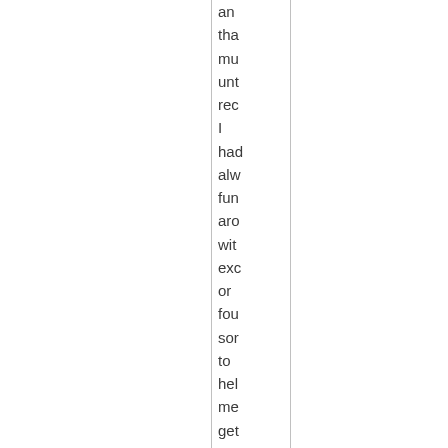an tha mu unt rec I had alw fun aro wit exc or fou sor to hel me get a bas thi dor wh